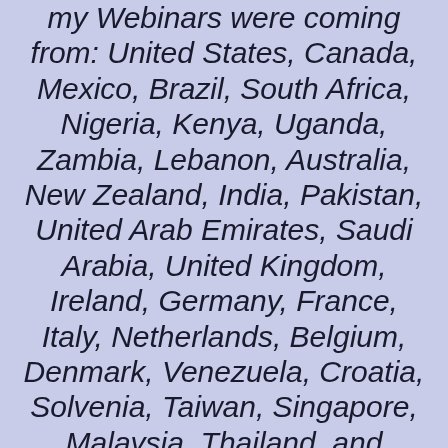my Webinars were coming from: United States, Canada, Mexico, Brazil, South Africa, Nigeria, Kenya, Uganda, Zambia, Lebanon, Australia, New Zealand, India, Pakistan, United Arab Emirates, Saudi Arabia, United Kingdom, Ireland, Germany, France, Italy, Netherlands, Belgium, Denmark, Venezuela, Croatia, Solvenia, Taiwan, Singapore, Malaysia, Thailand, and Philippines. In some countries I don't even know where they located until I Google it! Would you agree it is amazing for me to help people in need?